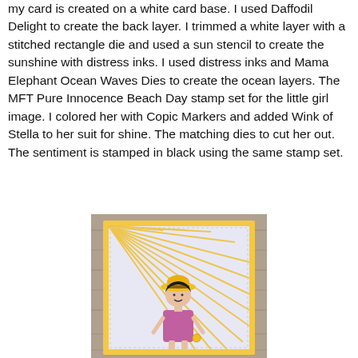my card is created on a white card base. I used Daffodil Delight to create the back layer. I trimmed a white layer with a stitched rectangle die and used a sun stencil to create the sunshine with distress inks. I used distress inks and Mama Elephant Ocean Waves Dies to create the ocean layers. The MFT Pure Innocence Beach Day stamp set for the little girl image. I colored her with Copic Markers and added Wink of Stella to her suit for shine. The matching dies to cut her out. The sentiment is stamped in black using the same stamp set.
[Figure (photo): A handmade greeting card showing a little girl with a yellow hat standing in front of radiating sunshine lines on a light lavender/blue background, with a yellow border, placed on a wooden surface.]